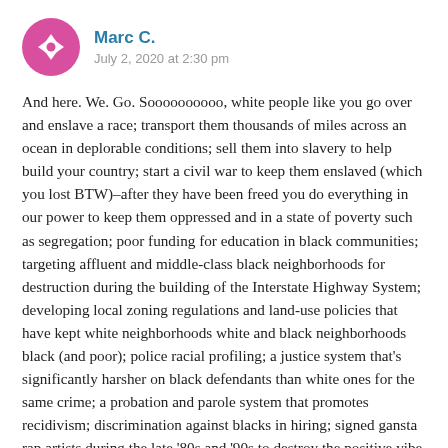[Figure (illustration): Pink/magenta circular avatar icon with a white diamond/cross pattern in the center]
Marc C.
July 2, 2020 at 2:30 pm
And here. We. Go. Soooooooooo, white people like you go over and enslave a race; transport them thousands of miles across an ocean in deplorable conditions; sell them into slavery to help build your country; start a civil war to keep them enslaved (which you lost BTW)–after they have been freed you do everything in our power to keep them oppressed and in a state of poverty such as segregation; poor funding for education in black communities; targeting affluent and middle-class black neighborhoods for destruction during the building of the Interstate Highway System; developing local zoning regulations and land-use policies that have kept white neighborhoods white and black neighborhoods black (and poor); police racial profiling; a justice system that's significantly harsher on black defendants than white ones for the same crime; a probation and parole system that promotes recidivism; discrimination against blacks in hiring; signed gansta rap artists during the late '80s and '90s to destroy the positive vibe of true Hip Hop;